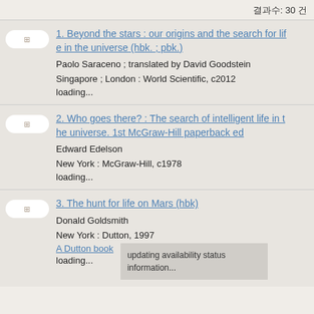결과수: 30 건
1. Beyond the stars : our origins and the search for life in the universe (hbk. ; pbk.)
Paolo Saraceno ; translated by David Goodstein
Singapore ; London : World Scientific, c2012
loading...
2. Who goes there? : The search of intelligent life in the universe. 1st McGraw-Hill paperback ed
Edward Edelson
New York : McGraw-Hill, c1978
loading...
3. The hunt for life on Mars (hbk)
Donald Goldsmith
New York : Dutton, 1997
A Dutton book
loading...
updating availability status information...